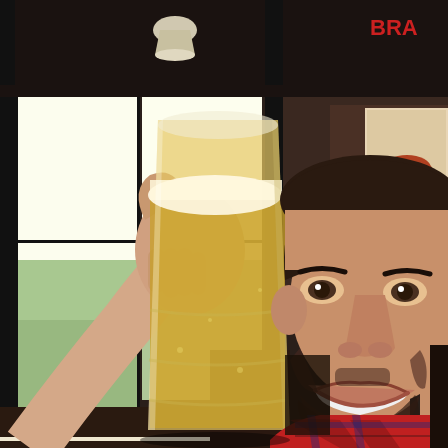[Figure (photo): A smiling young man with dark hair and a beard wearing a red plaid flannel shirt, sitting inside a cafe or bar, holding up a clear plastic cup filled with golden beer towards the camera. Background shows large windows with dark frames letting in bright light, and a coffee advertisement poster on the right wall. The setting appears to be a casual restaurant or pub.]